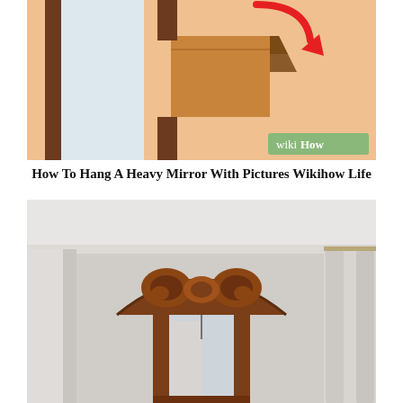[Figure (illustration): WikiHow illustration showing how to hang a heavy mirror — close-up of a wooden cleat bracket attached to a mirror frame, with a red curved arrow indicating rotation/installation motion. Peach/orange background with WikiHow watermark in lower right corner.]
How To Hang A Heavy Mirror With Pictures Wikihow Life
[Figure (photo): Photograph of a bedroom interior showing a large ornate dark-wood framed mirror with decorative carved scrollwork at the top, leaning or hanging against a wall. A white door frame is visible to the left, white curtains on a window to the right, and white crown molding along the ceiling.]